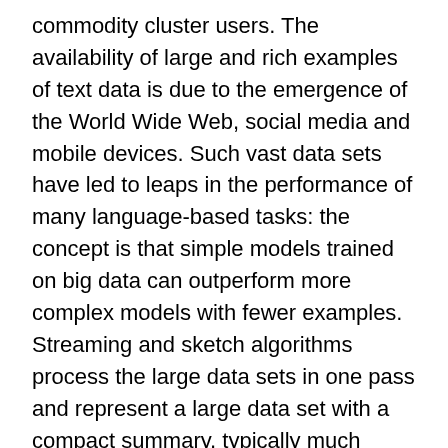commodity cluster users. The availability of large and rich examples of text data is due to the emergence of the World Wide Web, social media and mobile devices. Such vast data sets have led to leaps in the performance of many language-based tasks: the concept is that simple models trained on big data can outperform more complex models with fewer examples. Streaming and sketch algorithms process the large data sets in one pass and represent a large data set with a compact summary, typically much smaller than the full size of the input. However, the memory and time savings come at the expense of approximate solutions; though I will demonstrate that approximate solutions achieved on large data are comparable to exact solutions on large data, and outperform exact solutions on smaller data.
First, I show the empirical effectiveness of approximate streaming language models on Statistical Machine Translation. Second, I present a two-pass version of the...